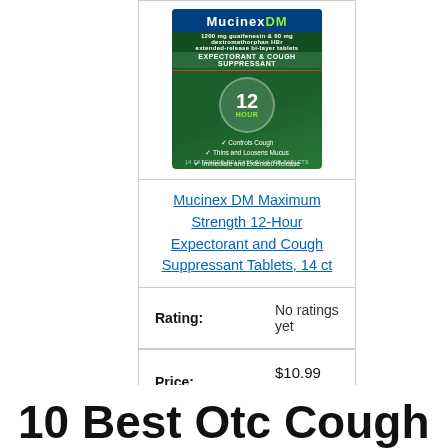[Figure (photo): Mucinex DM Maximum Strength 12-Hour Expectorant and Cough Suppressant Tablets, 14 ct product box — green and white box with '12 HOUR' badge, checkmarks listing Controls Cough, Thins and Loosens Mucus, Immediate and Extended Release]
Mucinex DM Maximum Strength 12-Hour Expectorant and Cough Suppressant Tablets, 14 ct
| Rating: | No ratings yet |
| Price: | $10.99 Prime |
Check Price On Amazon
10 Best Otc Cough